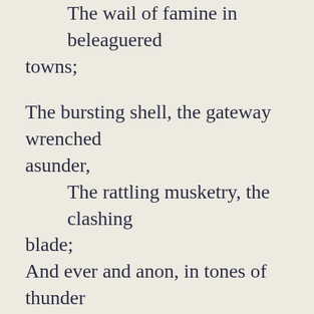The soldiers' revels in the midst of pillage,
    The wail of famine in beleaguered towns;

The bursting shell, the gateway wrenched asunder,
    The rattling musketry, the clashing blade;
And ever and anon, in tones of thunder
    The diapason of the cannonade.

Is it, O man, with such discordant noises,
    With such accursed instruments as these,